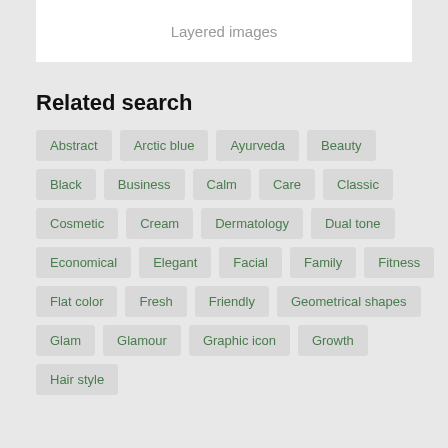Layered images
Related search
Abstract
Arctic blue
Ayurveda
Beauty
Black
Business
Calm
Care
Classic
Cosmetic
Cream
Dermatology
Dual tone
Economical
Elegant
Facial
Family
Fitness
Flat color
Fresh
Friendly
Geometrical shapes
Glam
Glamour
Graphic icon
Growth
Hair style